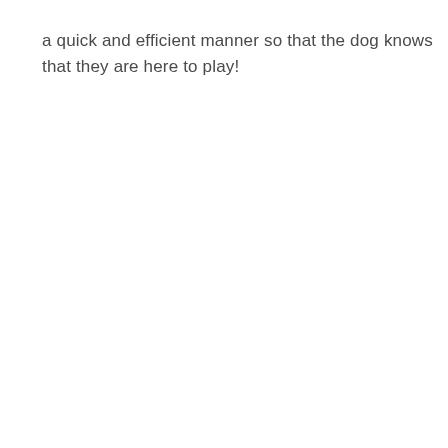a quick and efficient manner so that the dog knows that they are here to play!